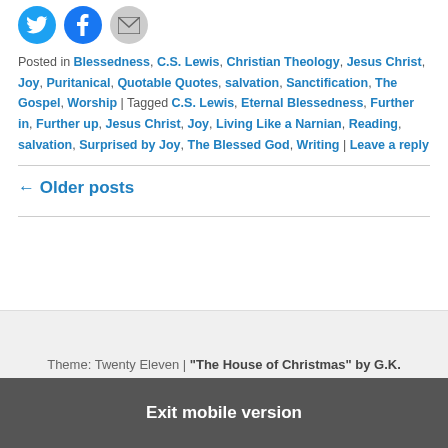[Figure (other): Three social sharing icon circles: Twitter (blue bird), Facebook (blue f), and Email (gray envelope)]
Posted in Blessedness, C.S. Lewis, Christian Theology, Jesus Christ, Joy, Puritanical, Quotable Quotes, salvation, Sanctification, The Gospel, Worship | Tagged C.S. Lewis, Eternal Blessedness, Further in, Further up, Jesus Christ, Joy, Living Like a Narnian, Reading, salvation, Surprised by Joy, The Blessed God, Writing | Leave a reply
← Older posts
Theme: Twenty Eleven | "The House of Christmas" by G.K. Chesterton | Proudly powered by WordPress
Exit mobile version